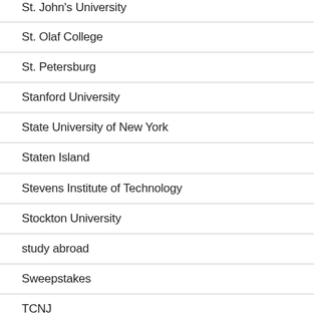St. John's University
St. Olaf College
St. Petersburg
Stanford University
State University of New York
Staten Island
Stevens Institute of Technology
Stockton University
study abroad
Sweepstakes
TCNJ
Temple University